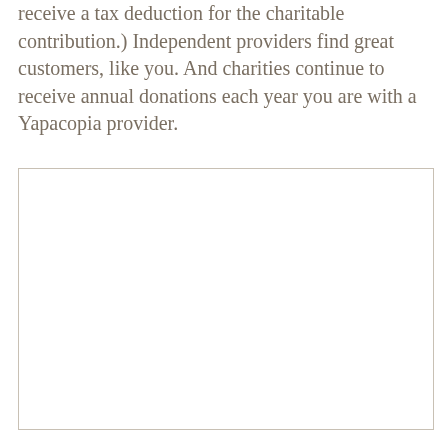receive a tax deduction for the charitable contribution.) Independent providers find great customers, like you. And charities continue to receive annual donations each year you are with a Yapacopia provider.
[Figure (other): Empty bordered rectangle placeholder box]